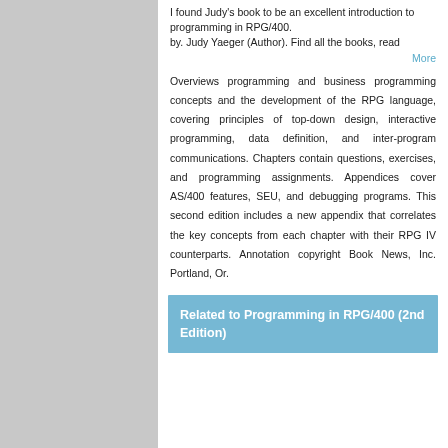I found Judy's book to be an excellent introduction to programming in RPG/400.
by. Judy Yaeger (Author). Find all the books, read More
Overviews programming and business programming concepts and the development of the RPG language, covering principles of top-down design, interactive programming, data definition, and inter-program communications. Chapters contain questions, exercises, and programming assignments. Appendices cover AS/400 features, SEU, and debugging programs. This second edition includes a new appendix that correlates the key concepts from each chapter with their RPG IV counterparts. Annotation copyright Book News, Inc. Portland, Or.
Related to Programming in RPG/400 (2nd Edition)